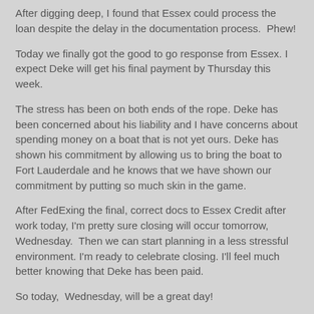After digging deep, I found that Essex could process the loan despite the delay in the documentation process.  Phew!
Today we finally got the good to go response from Essex. I expect Deke will get his final payment by Thursday this week.
The stress has been on both ends of the rope. Deke has been concerned about his liability and I have concerns about spending money on a boat that is not yet ours. Deke has shown his commitment by allowing us to bring the boat to Fort Lauderdale and he knows that we have shown our commitment by putting so much skin in the game.
After FedExing the final, correct docs to Essex Credit after work today, I'm pretty sure closing will occur tomorrow, Wednesday.  Then we can start planning in a less stressful environment. I'm ready to celebrate closing. I'll feel much better knowing that Deke has been paid.
So today,  Wednesday, will be a great day!